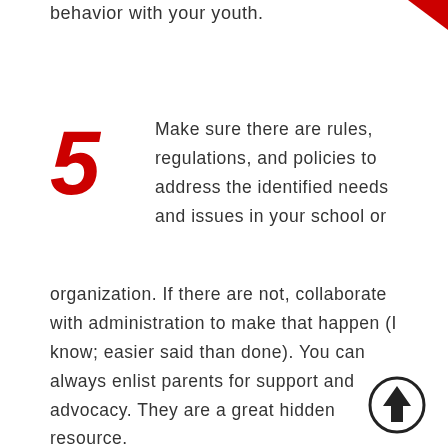behavior with your youth.
5 Make sure there are rules, regulations, and policies to address the identified needs and issues in your school or organization. If there are not, collaborate with administration to make that happen (I know; easier said than done). You can always enlist parents for support and advocacy. They are a great hidden resource.
[Figure (illustration): Up arrow icon — circle with upward pointing arrow inside, black outline]